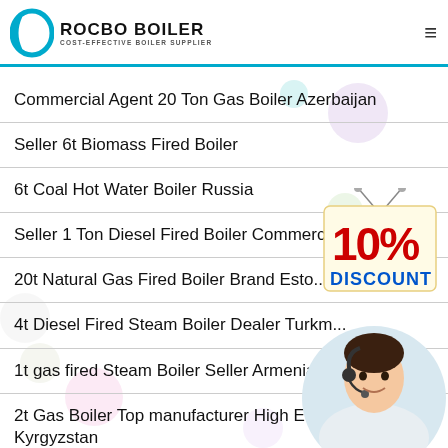ROCBO BOILER - COST-EFFECTIVE BOILER SUPPLIER
Commercial Agent 20 Ton Gas Boiler Azerbaijan
Seller 6t Biomass Fired Boiler
6t Coal Hot Water Boiler Russia
Seller 1 Ton Diesel Fired Boiler Commercia...
20t Natural Gas Fired Boiler Brand Esto...
4t Diesel Fired Steam Boiler Dealer Turkm...
1t gas fired Steam Boiler Seller Armenia...
2t Gas Boiler Top manufacturer High Effic... Kyrgyzstan